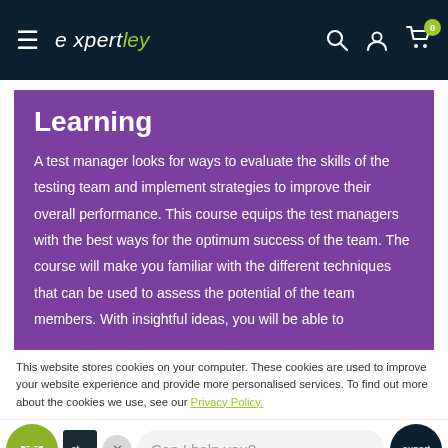expertley
Learning
A test manager looks for ways to evaluate the skills of the testing team and implement strategies to improve their overall performance. This course equips the test managers with the best ways for the optimum success of the team. The course will make you familiar with the different techniques that can be used to assess the potential of the team members. With insightful ideas, you will be able to
This website stores cookies on your computer. These cookies are used to improve your website experience and provide more personalised services. To find out more about the cookies we use, see our Privacy Policy.